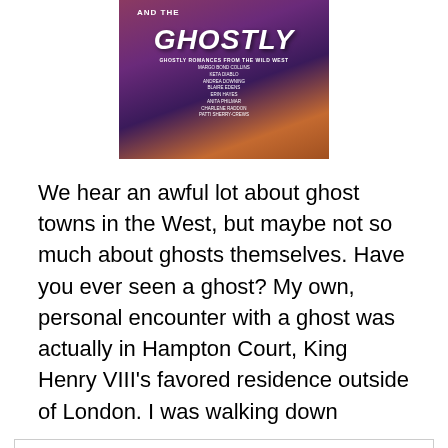[Figure (illustration): Book cover image showing 'AND THE GHOSTLY' title text with ghostly romances from the wild west subtitle, listing authors: Margo Bond Collins, Keta Diablo, Andrea Downing, Blaire Edens, Erin Hayes, Anita Philmar, Charlene Raddon, Patti Sherry-Crews. Purple and warm-toned background with figures.]
We hear an awful lot about ghost towns in the West, but maybe not so much about ghosts themselves. Have you ever seen a ghost? My own, personal encounter with a ghost was actually in Hampton Court, King Henry VIII's favored residence outside of London. I was walking down
Privacy & Cookies: This site uses cookies. By continuing to use this website, you agree to their use.
To find out more, including how to control cookies, see here: Cookie Policy
true spine-tingler! Even my daughter, who was with me,